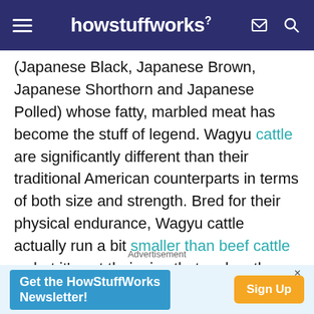howstuffworks
(Japanese Black, Japanese Brown, Japanese Shorthorn and Japanese Polled) whose fatty, marbled meat has become the stuff of legend. Wagyu cattle are significantly different than their traditional American counterparts in terms of both size and strength. Bred for their physical endurance, Wagyu cattle actually run a bit smaller than beef cattle — but it's not their size that makes these cows such a hot commodity.
Advertisement
Get the HowStuffWorks Newsletter! Sign Up